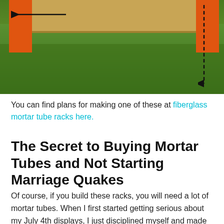[Figure (photo): Photo of a wooden mortar tube rack sitting on grass, with orange end pieces. A horizontal arrow points left on the top left, and a dashed vertical arrow points downward on the right side.]
You can find plans for making one of these at fiberglass mortar tube racks here.
The Secret to Buying Mortar Tubes and Not Starting Marriage Quakes
Of course, if you build these racks, you will need a lot of mortar tubes. When I first started getting serious about my July 4th displays, I just disciplined myself and made and